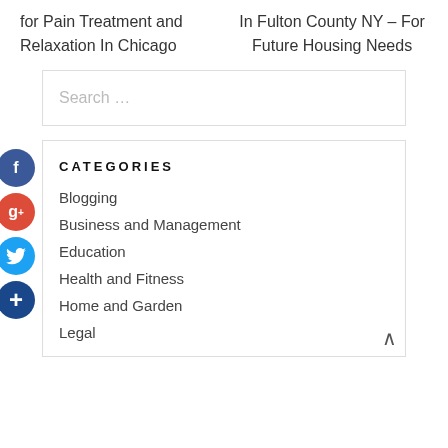for Pain Treatment and Relaxation In Chicago
In Fulton County NY – For Future Housing Needs
Search …
CATEGORIES
Blogging
Business and Management
Education
Health and Fitness
Home and Garden
Legal